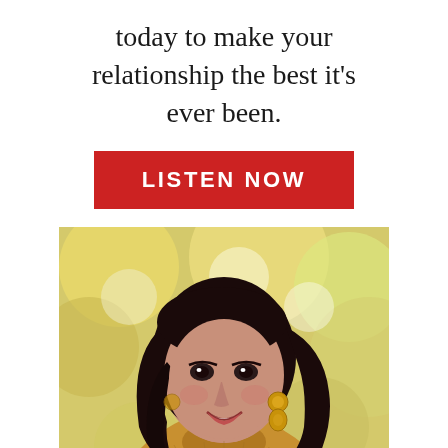today to make your relationship the best it's ever been.
[Figure (other): Red button with white text reading LISTEN NOW]
[Figure (photo): Woman with dark hair, laughing, wearing gold earrings and a mustard yellow turtleneck sweater, photographed outdoors with a blurred autumn yellow-green bokeh background.]